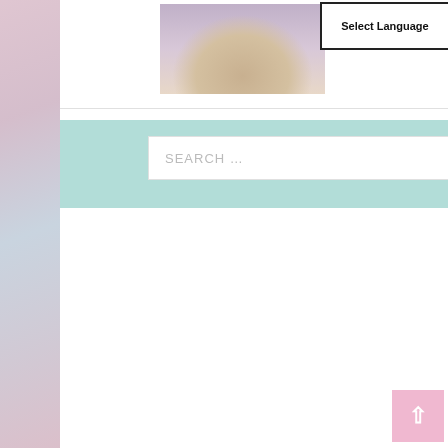[Figure (photo): Food photo thumbnail showing a cookie on a plate with a cup]
Sweet Honeyco
Select Language
SEARCH …
RECENT POSTS
Carnation fudge
Indonesian turkey stir-fry
Chewy toffee
Salted caramel pancakes
Easy pancakes